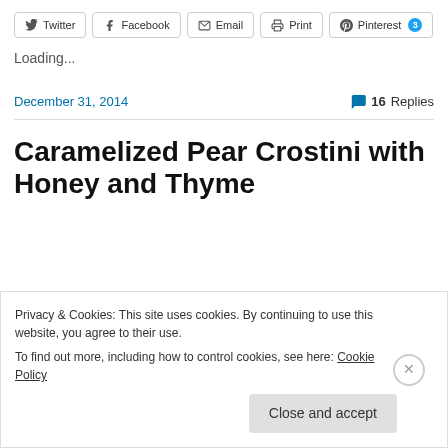Twitter  Facebook  Email  Print  Pinterest 3
Loading...
December 31, 2014   16 Replies
Caramelized Pear Crostini with Honey and Thyme
Privacy & Cookies: This site uses cookies. By continuing to use this website, you agree to their use.
To find out more, including how to control cookies, see here: Cookie Policy